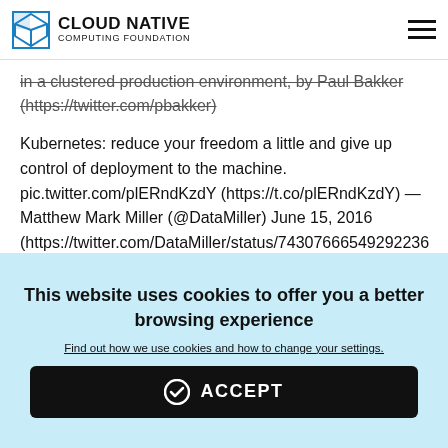CLOUD NATIVE COMPUTING FOUNDATION
in a clustered production environment, by Paul Bakker (https://twitter.com/pbakker)
Kubernetes: reduce your freedom a little and give up control of deployment to the machine. pic.twitter.com/plERndKzdY (https://t.co/plERndKzdY) — Matthew Mark Miller (@DataMiller) June 15, 2016 (https://twitter.com/DataMiller/status/74307666549292236...
This website uses cookies to offer you a better browsing experience
Find out how we use cookies and how to change your settings.
ACCEPT